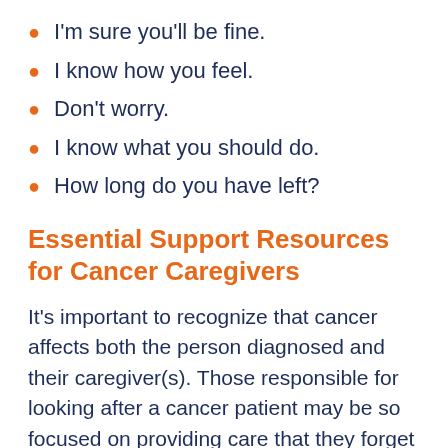I'm sure you'll be fine.
I know how you feel.
Don't worry.
I know what you should do.
How long do you have left?
Essential Support Resources for Cancer Caregivers
It's important to recognize that cancer affects both the person diagnosed and their caregiver(s). Those responsible for looking after a cancer patient may be so focused on providing care that they forget or may not be